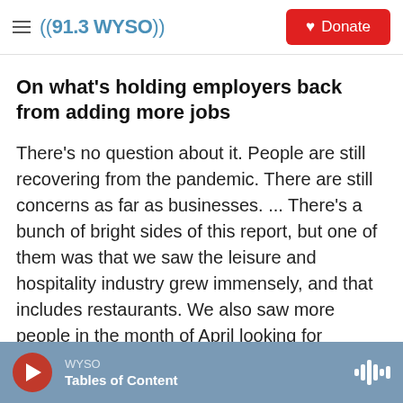((91.3 WYSO)) — Donate
On what's holding employers back from adding more jobs
There's no question about it. People are still recovering from the pandemic. There are still concerns as far as businesses. ... There's a bunch of bright sides of this report, but one of them was that we saw the leisure and hospitality industry grew immensely, and that includes restaurants. We also saw more people in the month of April looking for employment than the previous months. But
WYSO — Tables of Content